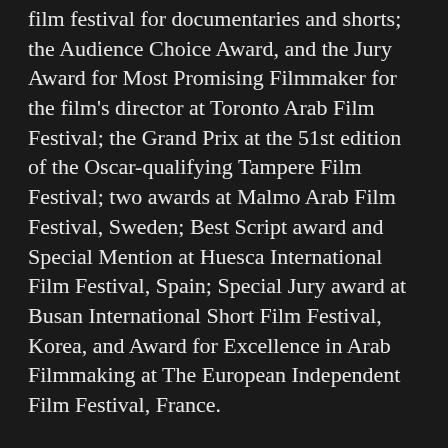film festival for documentaries and shorts; the Audience Choice Award, and the Jury Award for Most Promising Filmmaker for the film's director at Toronto Arab Film Festival; the Grand Prix at the 51st edition of the Oscar-qualifying Tampere Film Festival; two awards at Malmo Arab Film Festival, Sweden; Best Script award and Special Mention at Huesca International Film Festival, Spain; Special Jury award at Busan International Short Film Festival, Korea, and Award for Excellence in Arab Filmmaking at The European Independent Film Festival, France.
Furthermore, it nabbed the Canal+/Cine+ Award, which was presented by the French channel Canal Plus Cinema within the Clermont-Ferrand International Short Film Festival, where the film landed its international premiere. Most recently, the film had its world premiere at the latest edition of the Ajyal Film Festival in Qatar.
Al-Sit is written and directed by Suzannah Mirghani, who co-produced it along with Eiman Mirghani, and stars Mihad Murtada, Rabeha Mohammed, Mohammed Magdi and Haram Basher. The film is distributed in the Arab